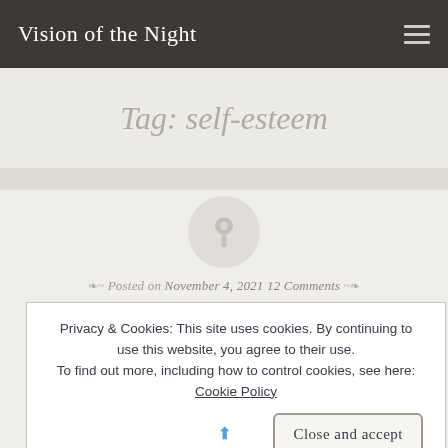Vision of the Night
Tag: self-esteem
[Figure (illustration): A circular grey pin/thumbtack icon on a light grey circular background]
Posted on November 4, 2021 12 Comments
Privacy & Cookies: This site uses cookies. By continuing to use this website, you agree to their use.
To find out more, including how to control cookies, see here: Cookie Policy
Close and accept